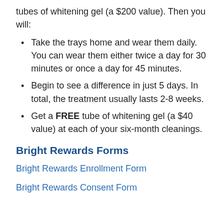tubes of whitening gel (a $200 value). Then you will:
Take the trays home and wear them daily. You can wear them either twice a day for 30 minutes or once a day for 45 minutes.
Begin to see a difference in just 5 days. In total, the treatment usually lasts 2-8 weeks.
Get a FREE tube of whitening gel (a $40 value) at each of your six-month cleanings.
Bright Rewards Forms
Bright Rewards Enrollment Form
Bright Rewards Consent Form